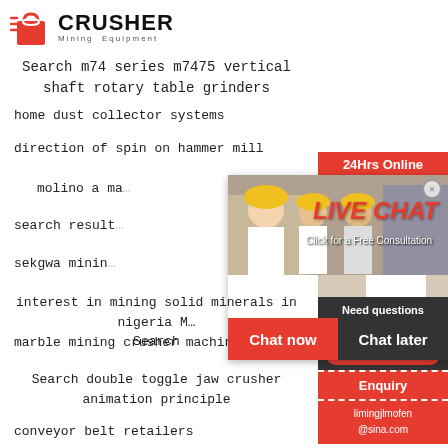[Figure (logo): Crusher Mining Equipment logo with red shopping bag icon and bold CRUSHER text]
Search m74 series m7475 vertical shaft rotary table grinders
home dust collector systems
direction of spin on hammer mill
molino a ma...
search result...
sekgwa minin...
interest in mining solid minerals in nigeria M... Search
marble mining crusher machine Search
Search double toggle jaw crusher animation principle
conveyor belt retailers
[Figure (screenshot): Live chat popup overlay showing workers in yellow helmets, LIVE CHAT text in red italic, 'Click for a Free Consultation' subtitle, Chat now and Chat later buttons]
[Figure (infographic): Right sidebar with 24Hrs Online header, customer service agent photo, Need questions & suggestion? section, Chat Now button, Enquiry section, limingjlmofen@sina.com email]